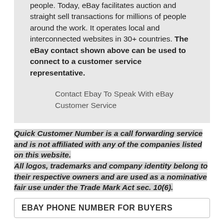people. Today, eBay facilitates auction and straight sell transactions for millions of people around the work. It operates local and interconnected websites in 30+ countries. The eBay contact shown above can be used to connect to a customer service representative.
Contact Ebay To Speak With eBay Customer Service
Quick Customer Number is a call forwarding service and is not affiliated with any of the companies listed on this website.
All logos, trademarks and company identity belong to their respective owners and are used as a nominative fair use under the Trade Mark Act sec. 10(6).
EBAY PHONE NUMBER FOR BUYERS
[Figure (photo): Outdoor photo showing green trees against a blue sky]